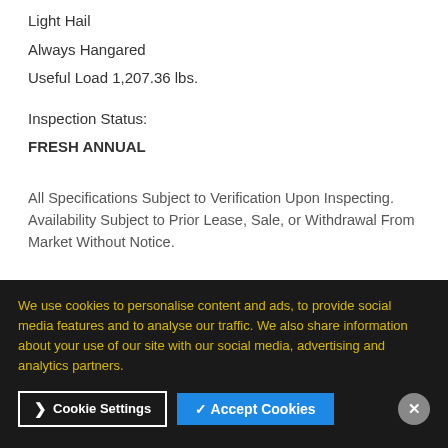Light Hail
Always Hangared
Useful Load 1,207.36 lbs.
Inspection Status:
FRESH ANNUAL
All Specifications Subject to Verification Upon Inspecting. Availability Subject to Prior Lease, Sale, or Withdrawal From Market Without Notice.
We use cookies to personalise content and ads, to provide social media features and to analyse our traffic. We also share information about your use of our site with our social media, advertising and analytics partners.